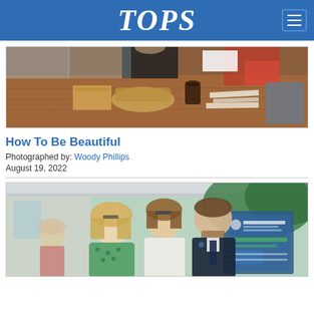TOPS
[Figure (photo): Event table with items including a basket, coffee cup, and printed materials. A person in a black outfit is visible behind the table.]
How To Be Beautiful
Photographed by: Woody Phillips
August 19, 2022
[Figure (photo): Three people posing outdoors under a white tent. A blonde woman in a green floral dress, a woman in white, and a man in a dark suit. A branded sign is visible in the background.]